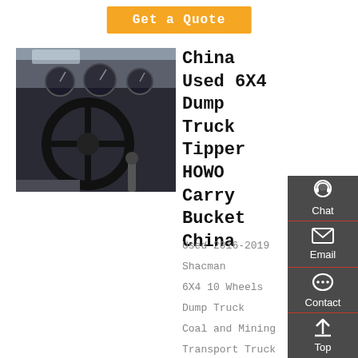Get a Quote
[Figure (photo): Interior cab view of a heavy-duty truck showing the steering wheel, dashboard with gauges, and driver controls]
China Used 6X4 Dump Truck Tipper HOWO Carry Bucket China
Used 2016-2019 Shacman 6X4 10 Wheels Dump Truck Coal and Mining Transport Truck US $14,000-20,000 / Piece Rhd Reconditioned HOWO 6X4 Tipper Truck for African Market
Chat
Email
Contact
Top